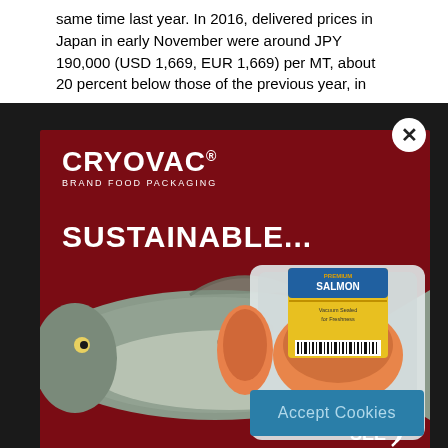same time last year. In 2016, delivered prices in Japan in early November were around JPY 190,000 (USD 1,669, EUR 1,669) per MT, about 20 percent below those of the previous year, in
[Figure (photo): Advertisement overlay for Cryovac Brand Food Packaging showing a whole salmon fish and a packaged vacuum-sealed salmon product in a clear tray. Text reads 'SUSTAINABLE...' in bold white on a dark red background. SEE logo in bottom right corner. Close button (X) in top right.]
Accept Cookies